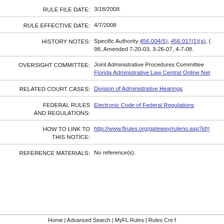RULE FILE DATE: 3/18/2008
RULE EFFECTIVE DATE: 4/7/2008
HISTORY NOTES: Specific Authority 456.004(5), 456.017(1)(a), ( 98, Amended 7-20-03, 3-26-07, 4-7-08.
OVERSIGHT COMMITTEE: Joint Administrative Procedures Committee Florida Administrative Law Central Online Net
RELATED COURT CASES: Division of Administrative Hearings
FEDERAL RULES AND REGULATIONS: Electronic Code of Federal Regulations
HOW TO LINK TO THIS NOTICE: http://www.flrules.org/gateway/ruleno.asp?id=
REFERENCE MATERIALS: No reference(s).
Home | Advanced Search | MyFL Rules | Rules Cre f